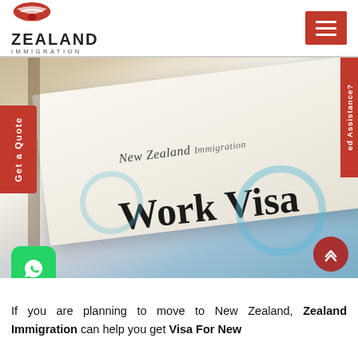ZEALAND IMMIGRATION
[Figure (photo): Close-up photo of a New Zealand Work Visa document with blue stamps/seals visible, with sidebar buttons for Get a Quote and Assistance, a WhatsApp icon, and a scroll-to-top button.]
If you are planning to move to New Zealand, Zealand Immigration can help you get Visa For New